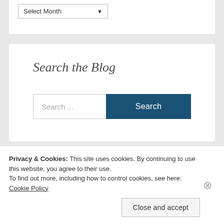[Figure (screenshot): Partial dropdown widget showing 'Select Month' with a down arrow, inside a white card at the top of the page.]
Search the Blog
Search ...
Top Posts
Privacy & Cookies: This site uses cookies. By continuing to use this website, you agree to their use.
To find out more, including how to control cookies, see here: Cookie Policy
Close and accept